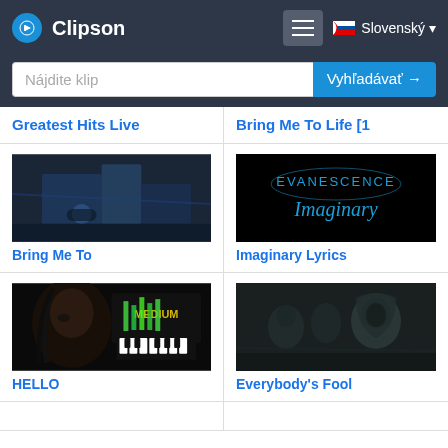Clipson
Nájdite klip
Vyhľadávať →
Greatest Hits Live
Bring Me To Life [1
[Figure (screenshot): Dark nighttime street scene with motorcycle]
Bring Me To
[Figure (screenshot): Evanescence Imaginary text on black background]
Imaginary Lyrics
[Figure (screenshot): HELLO - woman's face with MEDIUM piano graphic]
HELLO
[Figure (screenshot): Everybody's Fool - hooded figure in dark]
Everybody's Fool